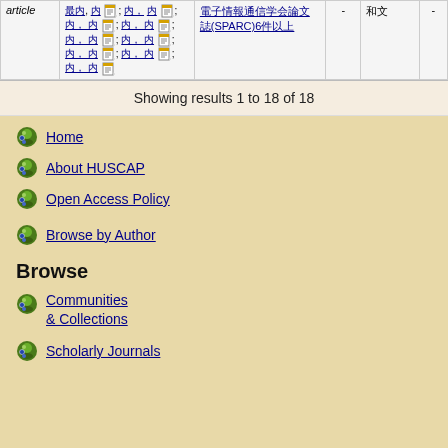| Type | Authors | Title |  |  |  |
| --- | --- | --- | --- | --- | --- |
| article | 著者名リスト (multiple authors with icons) | 電子情報通信学会論文誌(SPARC)6件以上 | - | 和文 | - |
Showing results 1 to 18 of 18
Home
About HUSCAP
Open Access Policy
Browse by Author
Browse
Communities & Collections
Scholarly Journals